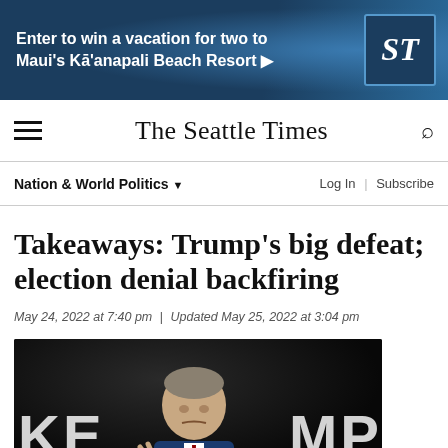[Figure (infographic): Advertisement banner: 'Enter to win a vacation for two to Maui's Kāʻanapali Beach Resort' with Seattle Times logo on dark blue background]
The Seattle Times
Nation & World Politics ▾    Log In | Subscribe
Takeaways: Trump's big defeat; election denial backfiring
May 24, 2022 at 7:40 pm | Updated May 25, 2022 at 3:04 pm
[Figure (photo): Photo of a man (Governor Brian Kemp) gesturing in front of a large KEMP campaign sign on a dark background]